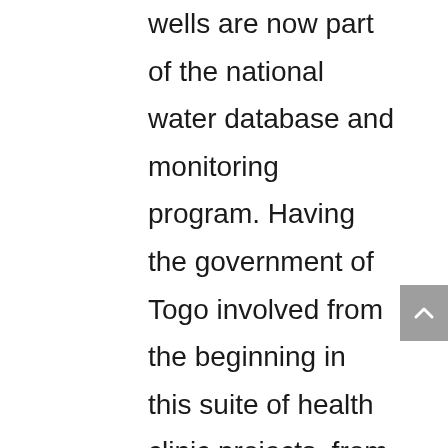wells are now part of the national water database and monitoring program. Having the government of Togo involved from the beginning in this suite of health clinic projects, from the selection of health centers to technical oversight and continued monitoring by the Ministry of Water officials, has confirmed the importance of not doing community projects as isolated NGOs. This last point is critical to continued success as most water projects in Togo are implemented without government oversight, leading to a myriad of problems none the least